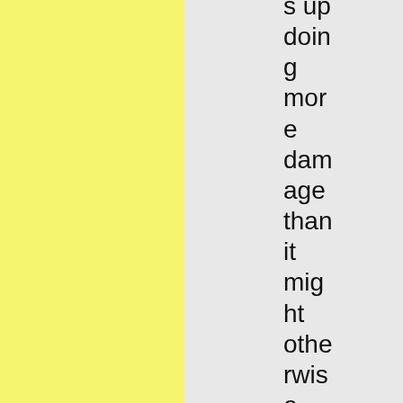s up doing more damage than it might otherwise. Like a screwdriver would normally